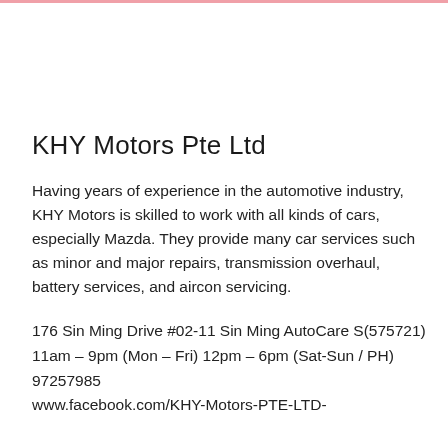KHY Motors Pte Ltd
Having years of experience in the automotive industry, KHY Motors is skilled to work with all kinds of cars, especially Mazda. They provide many car services such as minor and major repairs, transmission overhaul, battery services, and aircon servicing.
176 Sin Ming Drive #02-11 Sin Ming AutoCare S(575721)
11am – 9pm (Mon – Fri) 12pm – 6pm (Sat-Sun / PH)
97257985
www.facebook.com/KHY-Motors-PTE-LTD-